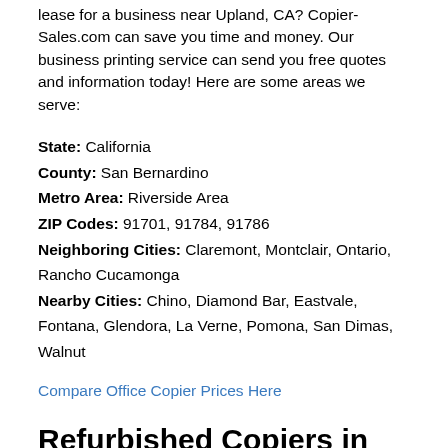lease for a business near Upland, CA? Copier-Sales.com can save you time and money. Our business printing service can send you free quotes and information today! Here are some areas we serve:
State: California
County: San Bernardino
Metro Area: Riverside Area
ZIP Codes: 91701, 91784, 91786
Neighboring Cities: Claremont, Montclair, Ontario, Rancho Cucamonga
Nearby Cities: Chino, Diamond Bar, Eastvale, Fontana, Glendora, La Verne, Pomona, San Dimas, Walnut
Compare Office Copier Prices Here
Refurbished Copiers in Upland, CA